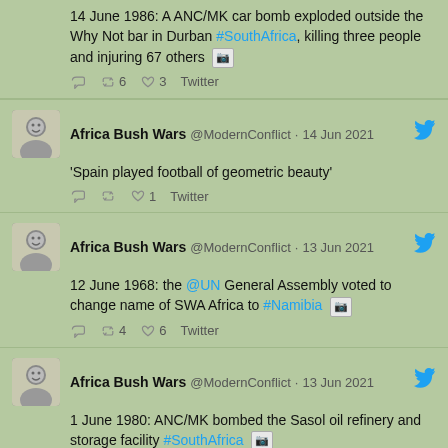14 June 1986: A ANC/MK car bomb exploded outside the Why Not bar in Durban #SouthAfrica, killing three people and injuring 67 others [img]
Reply 0  Retweet 6  Like 3  Twitter
Africa Bush Wars @ModernConflict · 14 Jun 2021
'Spain played football of geometric beauty'
Reply 0  Retweet 0  Like 1  Twitter
Africa Bush Wars @ModernConflict · 13 Jun 2021
12 June 1968: the @UN General Assembly voted to change name of SWA Africa to #Namibia [img]
Reply 0  Retweet 4  Like 6  Twitter
Africa Bush Wars @ModernConflict · 13 Jun 2021
1 June 1980: ANC/MK bombed the Sasol oil refinery and storage facility #SouthAfrica [img]